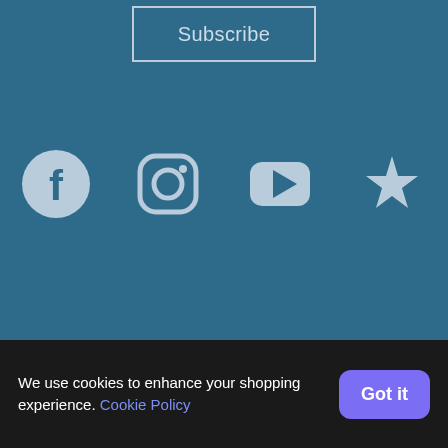Subscribe
[Figure (illustration): Social media icons: Facebook, Instagram, YouTube, Yelp]
© 2022 Recycled Sets LLC
Powered by Propcart Pro
Terms of Use   Privacy
We use cookies to enhance your shopping experience. Cookie Policy   Got it